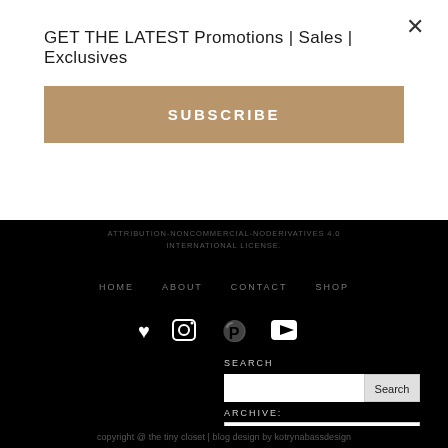GET THE LATEST Promotions | Sales | Exclusives
SUBSCRIBE
ATTRIBUTION-NONCOMMERCIAL-NODERIVATIVES 4.0 INTERNATIONAL LICENSE.
HOME   ABOUT   CONTACT   SHOP
[Figure (illustration): Social media icons: heart, Instagram, Pinterest, YouTube play button]
SEARCH
ARCHIVE:
December (3)
copyright @ the tiny closet | blog design by kotrynabassdesign